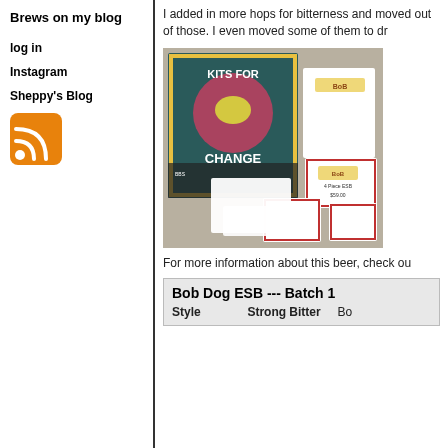Brews on my blog
log in
Instagram
Sheppy's Blog
[Figure (logo): RSS feed icon, orange square with white RSS symbol]
I added in more hops for bitterness and moved out of those. I even moved some of them to dr
[Figure (photo): Photo of Kits for Change display with Bob Dog ESB brewing kit boxes on a shelf]
For more information about this beer, check ou
| Bob Dog ESB --- Batch 1 |
| --- |
| Style |  | Strong Bitter |  | Bo |